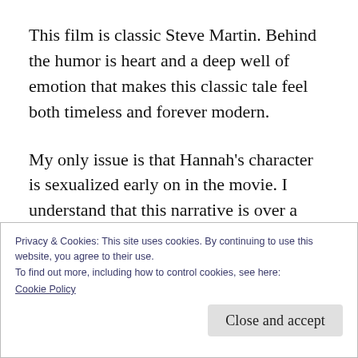This film is classic Steve Martin. Behind the humor is heart and a deep well of emotion that makes this classic tale feel both timeless and forever modern.
My only issue is that Hannah's character is sexualized early on in the movie. I understand that this narrative is over a century old. The norms in 1897 are not the norms of today. I appreciate that she was given some depth as a
Privacy & Cookies: This site uses cookies. By continuing to use this website, you agree to their use.
To find out more, including how to control cookies, see here:
Cookie Policy
Close and accept